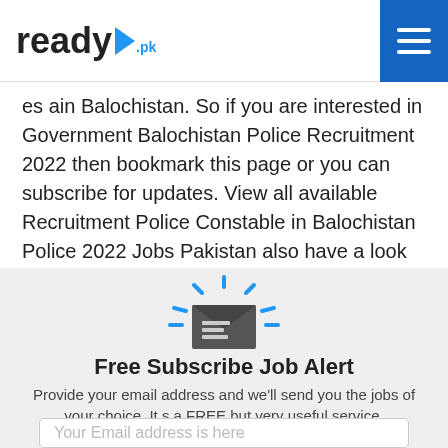ready.pk
es ain Balochistan. So if you are interested in Government Balochistan Police Recruitment 2022 then bookmark this page or you can subscribe for updates. View all available Recruitment Police Constable in Balochistan Police 2022 Jobs Pakistan also have a look at the Balochistan police asi jobs. Check process on how to apply and do remember the last date of submission.
[Figure (illustration): Email envelope icon with rays/beams around it indicating notification or alert]
Free Subscribe Job Alert
Provide your email address and we'll send you the jobs of your choice. It s a FREE but very useful service.
Your Email address is here